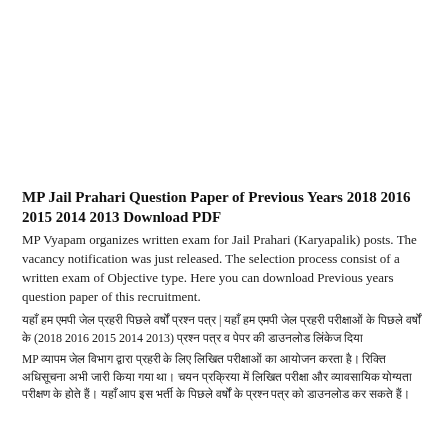MP Jail Prahari Question Paper of Previous Years 2018 2016 2015 2014 2013 Download PDF
MP Vyapam organizes written exam for Jail Prahari (Karyapalik) posts. The vacancy notification was just released. The selection process consist of a written exam of Objective type. Here you can download Previous years question paper of this recruitment.
यहाँ हम एमपी जेल प्रहरी पिछले वर्षों प्रश्न पत्र | यहाँ हम एमपी जेल प्रहरी परीक्षाओं के पिछले वर्षों के (2018 2016 2015 2014 2013) प्रश्न पत्र व पेपर की डाउनलोड लिंकेज दिया
MP व्यापम जेल विभाग द्वारा प्रहरी के लिए लिखित परीक्षाओं का आयोजन करता है। रिक्ति अधिसूचना अभी जारी किया गया था। चयन प्रक्रिया में लिखित परीक्षा और व्यावसायिक योग्यता परीक्षण के होते हैं। यहाँ आप इस भर्ती के पिछले वर्षों के प्रश्न पत्र को डाउनलोड कर सकते हैं।